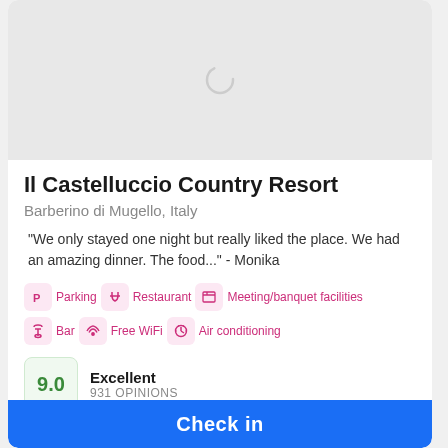[Figure (screenshot): Loading placeholder image area with spinner icon for hotel photo]
Il Castelluccio Country Resort
Barberino di Mugello, Italy
"We only stayed one night but really liked the place. We had an amazing dinner. The food..." - Monika
Parking | Restaurant | Meeting/banquet facilities | Bar | Free WiFi | Air conditioning
9.0  Excellent  931 OPINIONS
Check in